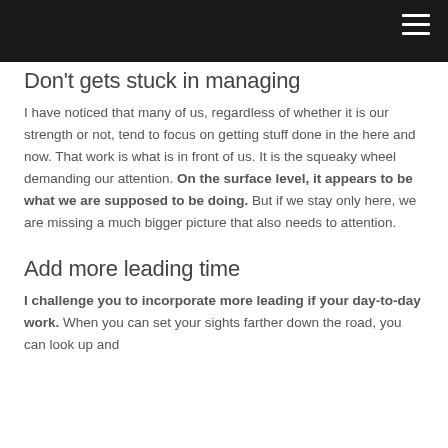Don't gets stuck in managing
I have noticed that many of us, regardless of whether it is our strength or not, tend to focus on getting stuff done in the here and now. That work is what is in front of us. It is the squeaky wheel demanding our attention. On the surface level, it appears to be what we are supposed to be doing. But if we stay only here, we are missing a much bigger picture that also needs to attention.
Add more leading time
I challenge you to incorporate more leading if your day-to-day work. When you can set your sights farther down the road, you can look up and